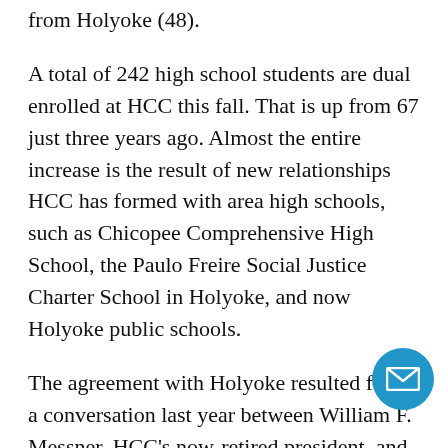from Holyoke (48).
A total of 242 high school students are dual enrolled at HCC this fall. That is up from 67 just three years ago. Almost the entire increase is the result of new relationships HCC has formed with area high schools, such as Chicopee Comprehensive High School, the Paulo Freire Social Justice Charter School in Holyoke, and now Holyoke public schools.
The agreement with Holyoke resulted from a conversation last year between William F. Messner, HCC's now-retired president, and Stephen K. Zrike, the state-appointed receiver charged with turning the city's public schools around.
Zrike said dual enrollment gives students early exposure to college material and brings a higher level of...